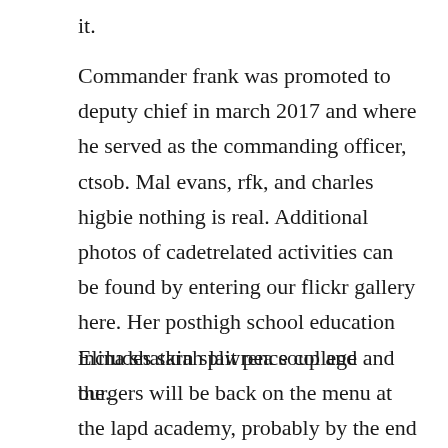it.
Commander frank was promoted to deputy chief in march 2017 and where he served as the commanding officer, ctsob. Mal evans, rfk, and charles higbie nothing is real. Additional photos of cadetrelated activities can be found by entering our flickr gallery here. Her posthigh school education includes sarah lawrence college and the.
Elina shatkin split pea soup and burgers will be back on the menu at the lapd academy, probably by the end of the year.